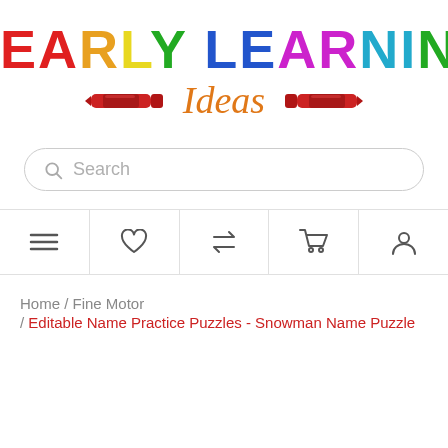[Figure (logo): Early Learning Ideas logo with multicolor block letters and crayon decorations with 'Ideas' in orange italic script]
[Figure (screenshot): Search bar with magnifying glass icon and placeholder text 'Search']
[Figure (screenshot): Navigation bar with hamburger menu, heart, refresh/swap, cart, and user icons]
Home / Fine Motor / Editable Name Practice Puzzles - Snowman Name Puzzle